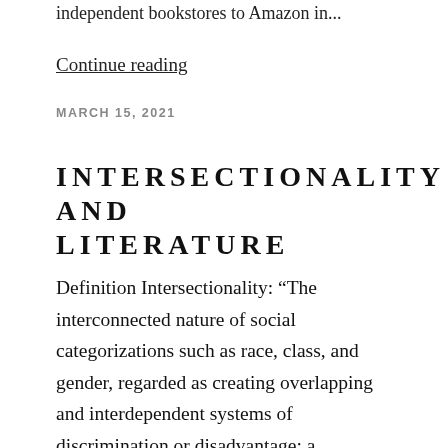independent bookstores to Amazon in...
Continue reading
MARCH 15, 2021
INTERSECTIONALITY AND LITERATURE
Definition Intersectionality: “The interconnected nature of social categorizations such as race, class, and gender, regarded as creating overlapping and interdependent systems of discrimination or disadvantage; a theoretical approach